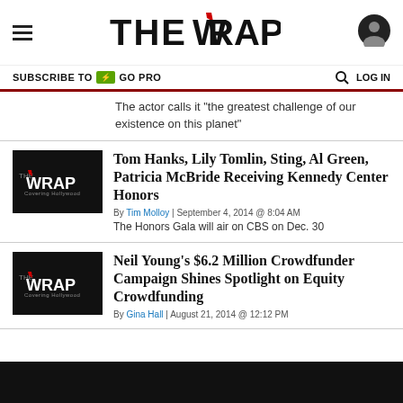THE WRAP
SUBSCRIBE TO GO PRO  LOG IN
The actor calls it "the greatest challenge of our existence on this planet"
Tom Hanks, Lily Tomlin, Sting, Al Green, Patricia McBride Receiving Kennedy Center Honors
By Tim Molloy | September 4, 2014 @ 8:04 AM
The Honors Gala will air on CBS on Dec. 30
Neil Young's $6.2 Million Crowdfunder Campaign Shines Spotlight on Equity Crowdfunding
By Gina Hall | August 21, 2014 @ 12:12 PM